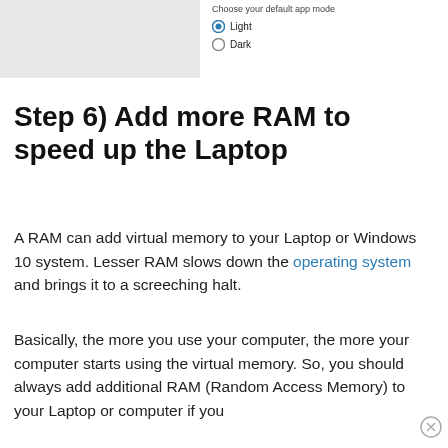[Figure (screenshot): Gray rectangle representing a screenshot or image placeholder in the top-left area]
Choose your default app mode
Light (selected)
Dark
Step 6) Add more RAM to speed up the Laptop
A RAM can add virtual memory to your Laptop or Windows 10 system. Lesser RAM slows down the operating system and brings it to a screeching halt.
Basically, the more you use your computer, the more your computer starts using the virtual memory. So, you should always add additional RAM (Random Access Memory) to your Laptop or computer if you